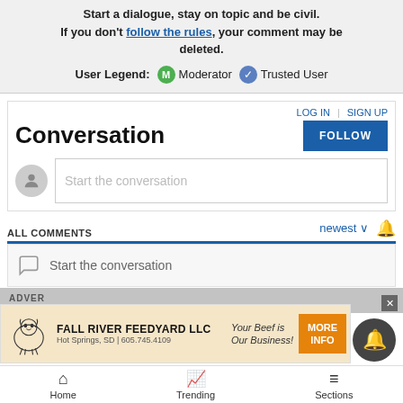Start a dialogue, stay on topic and be civil. If you don't follow the rules, your comment may be deleted.
User Legend: M Moderator ✓ Trusted User
Conversation
LOG IN | SIGN UP
FOLLOW
Start the conversation
ALL COMMENTS
newest ∨
Start the conversation
[Figure (infographic): Advertisement banner for Fall River Feedyard LLC with cow illustration, text 'Your Beef is Our Business!', Hot Springs, SD | 605.745.4109, and an orange MORE INFO button]
ADVERT
Home  Trending  Sections